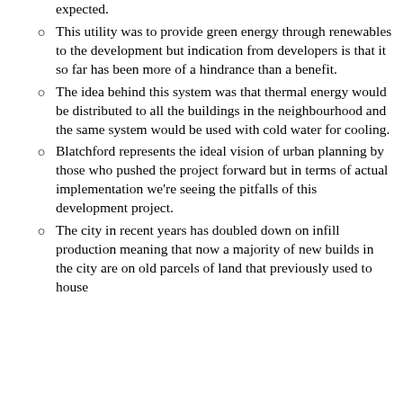expected.
This utility was to provide green energy through renewables to the development but indication from developers is that it so far has been more of a hindrance than a benefit.
The idea behind this system was that thermal energy would be distributed to all the buildings in the neighbourhood and the same system would be used with cold water for cooling.
Blatchford represents the ideal vision of urban planning by those who pushed the project forward but in terms of actual implementation we’re seeing the pitfalls of this development project.
The city in recent years has doubled down on infill production meaning that now a majority of new builds in the city are on old parcels of land that previously used to house